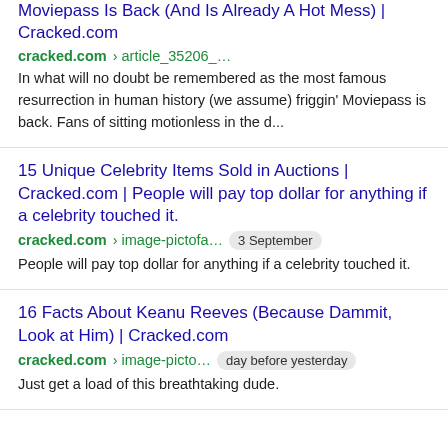Moviepass Is Back (And Is Already A Hot Mess) | Cracked.com
cracked.com › article_35206_…
In what will no doubt be remembered as the most famous resurrection in human history (we assume) friggin' Moviepass is back. Fans of sitting motionless in the d...
15 Unique Celebrity Items Sold in Auctions | Cracked.com | People will pay top dollar for anything if a celebrity touched it.
cracked.com › image-pictofa… 3 September
People will pay top dollar for anything if a celebrity touched it.
16 Facts About Keanu Reeves (Because Dammit, Look at Him) | Cracked.com
cracked.com › image-picto… day before yesterday
Just get a load of this breathtaking dude.